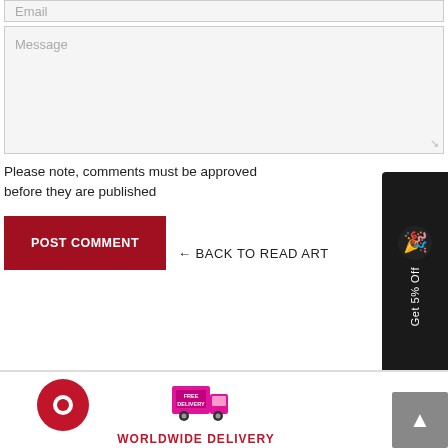Email
Message
Please note, comments must be approved before they are published
POST COMMENT
← BACK TO READ ART
[Figure (infographic): Dark promo widget with party popper icon and text 'Get 5% Off']
[Figure (logo): Red circular logo icon in footer]
[Figure (infographic): Pink delivery truck icon with 'FREE DELIVERY' text]
WORLDWIDE DELIVERY